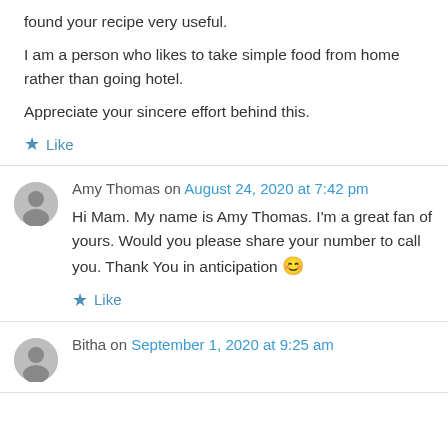found your recipe very useful.
I am a person who likes to take simple food from home rather than going hotel.

Appreciate your sincere effort behind this.
★ Like
Amy Thomas on August 24, 2020 at 7:42 pm
Hi Mam. My name is Amy Thomas. I'm a great fan of yours. Would you please share your number to call you. Thank You in anticipation 😊
★ Like
Bitha on September 1, 2020 at 9:25 am